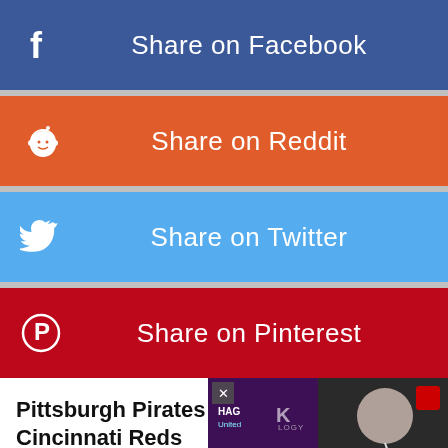[Figure (infographic): Share on Facebook button with Facebook icon (f) on blue background]
[Figure (infographic): Share on Reddit button with Reddit alien icon on orange background]
[Figure (infographic): Share on Twitter button with Twitter bird icon on light blue background]
[Figure (infographic): Share on Pinterest button with Pinterest P icon on dark red background]
Pittsburgh Pirates vs Cincinnati Reds Prediction & Preview
[Figure (screenshot): Video overlay showing a press conference with a bald man, Liverpool vs Manchester United score overlay showing 1, with HAG text and Manchester United badge. Close button (X) visible.]
gutrench: are you calling your team bitc